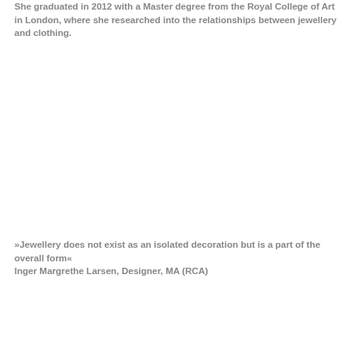She graduated in 2012 with a Master degree from the Royal College of Art in London, where she researched into the relationships between jewellery and clothing.
»Jewellery does not exist as an isolated decoration but is a part of the overall form« Inger Margrethe Larsen, Designer, MA (RCA)